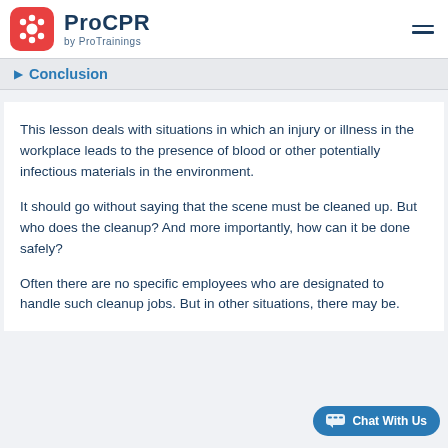ProCPR by ProTrainings
Conclusion
This lesson deals with situations in which an injury or illness in the workplace leads to the presence of blood or other potentially infectious materials in the environment.
It should go without saying that the scene must be cleaned up. But who does the cleanup? And more importantly, how can it be done safely?
Often there are no specific employees who are designated to handle such cleanup jobs. But in other situations, there may be.